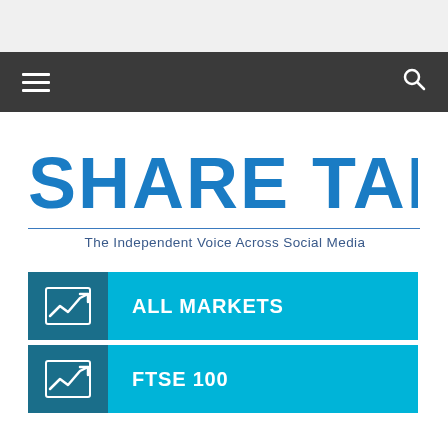[Figure (logo): Share Talk logo with tagline 'The Independent Voice Across Social Media']
Navigation bar with hamburger menu and search icon
ALL MARKETS
FTSE 100